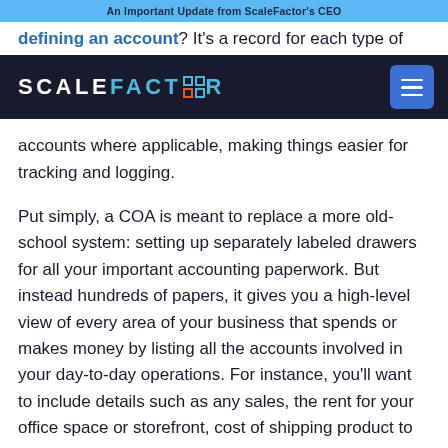An Important Update from ScaleFactor's CEO
defining an account? It's a record for each type of
[Figure (logo): ScaleFactor logo — white text 'SCALE' followed by teal 'FACT' then icon square then teal 'R' on dark navy background, with hamburger menu button on right]
accounts where applicable, making things easier for tracking and logging.

Put simply, a COA is meant to replace a more old-school system: setting up separately labeled drawers for all your important accounting paperwork. But instead hundreds of papers, it gives you a high-level view of every area of your business that spends or makes money by listing all the accounts involved in your day-to-day operations. For instance, you'll want to include details such as any sales, the rent for your office space or storefront, cost of shipping product to customers, etc.